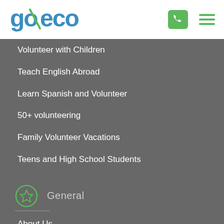[Figure (logo): goeco logo in blue and green with a diagonal slash through the 'o']
Volunteer with Children
Teach English Abroad
Learn Spanish and Volunteer
50+ volunteering
Family Volunteer Vacations
Teens and High School Students
General
About Us
Terms and Conditions
Visas